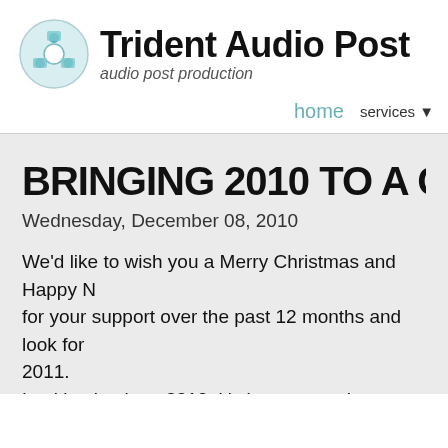[Figure (logo): Trident Audio Post logo with reel/tape graphic icon and text 'Trident Audio Post' with subtitle 'audio post production']
home   services ▾
BRINGING 2010 TO A CL...
Wednesday, December 08, 2010
We'd like to wish you a Merry Christmas and Happy N... for your support over the past 12 months and look for... 2011.
Looking back on 2010, it's been a tough year for ever... some memorable sessions. We, as ever, have continu... remote directing facilities such as dial-in over mobile...